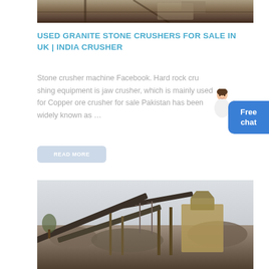[Figure (photo): Top partial view of industrial crushing machinery equipment, brown and dark tones]
USED GRANITE STONE CRUSHERS FOR SALE IN UK | INDIA CRUSHER
Stone crusher machine Facebook. Hard rock cru shing equipment is jaw crusher, which is mainly used for Copper ore crusher for sale Pakistan has been widely known as …
READ MORE
[Figure (photo): Outdoor industrial stone crushing plant with conveyor belts and machinery structures against a grey sky]